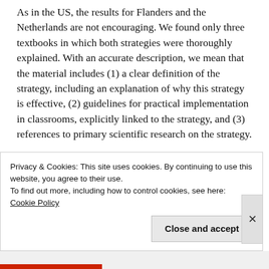As in the US, the results for Flanders and the Netherlands are not encouraging. We found only three textbooks in which both strategies were thoroughly explained. With an accurate description, we mean that the material includes (1) a clear definition of the strategy, including an explanation of why this strategy is effective, (2) guidelines for practical implementation in classrooms, explicitly linked to the strategy, and (3) references to primary scientific research on the strategy.
Privacy & Cookies: This site uses cookies. By continuing to use this website, you agree to their use.
To find out more, including how to control cookies, see here: Cookie Policy